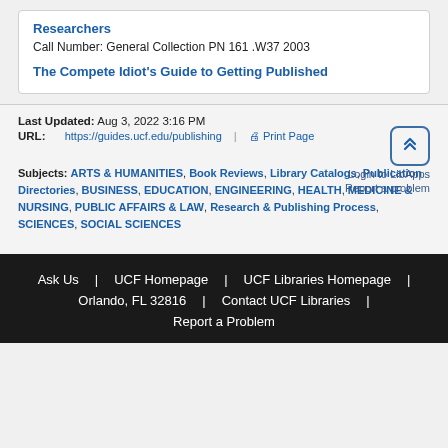Researchers
Call Number: General Collection PN 161 .W37 2003
The Compete Idiot's Guide to Getting Published
Last Updated: Aug 3, 2022 3:16 PM
URL: https://guides.ucf.edu/publishing | Print Page | Login to LibApps | Report a problem
Subjects: ARTS & HUMANITIES, Book Reviews, Library Catalogs, Publication Directories, BUSINESS, EDUCATION, ENGINEERING, HEALTH, MEDICINE & NURSING, PUBLIC AFFAIRS & LAW, Research & Publishing Process, SCIENCES, SOCIAL SCIENCES
Ask Us | UCF Homepage | UCF Libraries Homepage | Orlando, FL 32816 | Contact UCF Libraries | Report a Problem